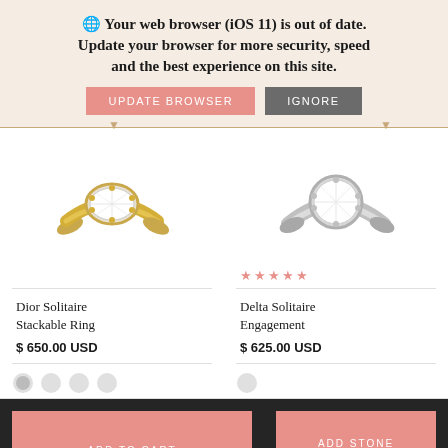🌐 Your web browser (iOS 11) is out of date. Update your browser for more security, speed and the best experience on this site.
UPDATE BROWSER   IGNORE
[Figure (illustration): Yellow gold solitaire ring with oval diamond center stone]
Dior Solitaire Stackable Ring
$ 650.00 USD
[Figure (illustration): White gold solitaire engagement ring with round diamond center stone, five star rating shown]
Delta Solitaire Engagement
$ 625.00 USD
ADD TO CART
ADD STONE TO RING